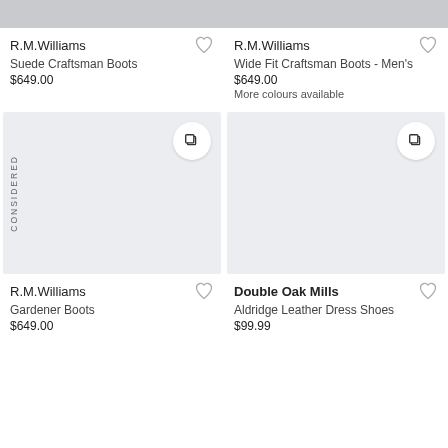[Figure (photo): Partial top of product image for R.M.Williams Suede Craftsman Boots]
R.M.Williams
Suede Craftsman Boots
$649.00
[Figure (photo): Partial top of product image for R.M.Williams Wide Fit Craftsman Boots - Men's]
R.M.Williams
Wide Fit Craftsman Boots - Men's
$649.00
More colours available
[Figure (photo): Product image placeholder for R.M.Williams Gardener Boots with CONSIDERED label]
R.M.Williams
Gardener Boots
$649.00
[Figure (photo): Product image placeholder for Double Oak Mills Aldridge Leather Dress Shoes]
Double Oak Mills
Aldridge Leather Dress Shoes
$99.99